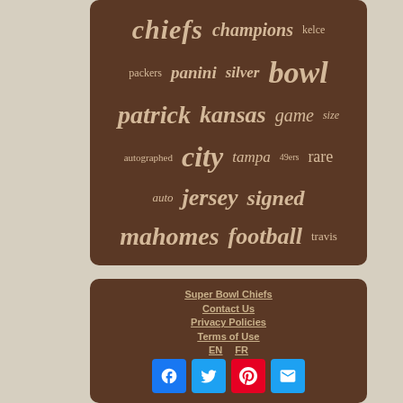[Figure (infographic): Word cloud on dark brown background with football-related terms: chiefs, champions, kelce, packers, panini, silver, bowl, patrick, kansas, game, size, autographed, city, tampa, 49ers, rare, auto, jersey, signed, mahomes, football, travis]
Super Bowl Chiefs
Contact Us
Privacy Policies
Terms of Use
EN FR